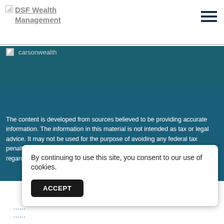DSF Wealth Management
[Figure (logo): DSF Wealth Management logo (broken image placeholder with linked text)]
[Figure (logo): carsonwealth logo (broken image placeholder)]
The content is developed from sources believed to be providing accurate information. The information in this material is not intended as tax or legal advice. It may not be used for the purpose of avoiding any federal tax penalties. Please consult legal or tax professionals for specific information regarding your individual situation, and
By continuing to use this site, you consent to our use of cookies.
ACCEPT
Fo Fo h,